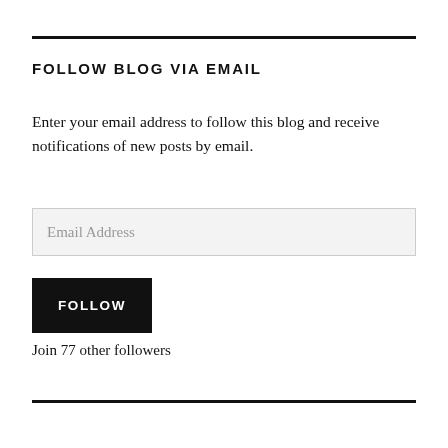FOLLOW BLOG VIA EMAIL
Enter your email address to follow this blog and receive notifications of new posts by email.
Email Address
FOLLOW
Join 77 other followers
FOLLOW VIA TWITTER